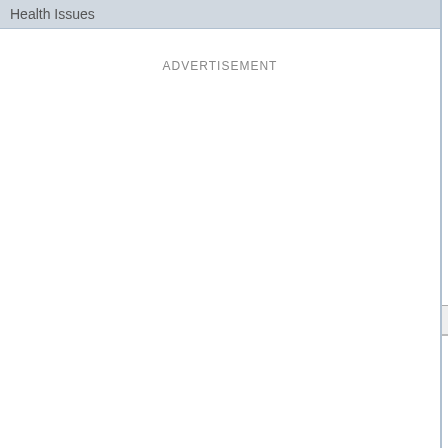Health Issues
ADVERTISEMENT
What's the point
Gas poor
To
Well, YO (12:24 pm)
Yo
An
Latest Posts | Unanswered | Top View
Powerscribe editors
CFS - DO NOT APPLY WITH TH
Has anyone recently worked for th
Job
Is Keystrokes still around?
Amic ad
Anyone have experience with